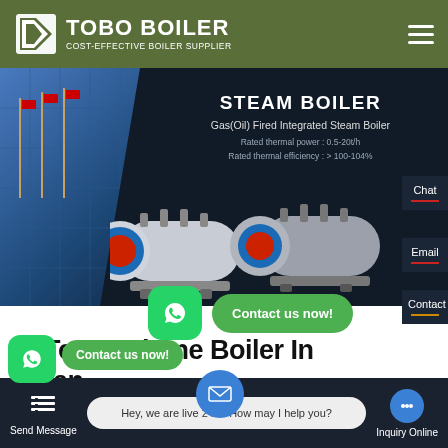[Figure (screenshot): TOBO BOILER website screenshot showing header with logo, hero banner with steam boiler product, contact buttons, and page title '15 Ton Methane Boiler In Japan']
TOBO BOILER
COST-EFFECTIVE BOILER SUPPLIER
STEAM BOILER
Gas(Oil) Fired Integrated Steam Boiler
Rated thermal power : 0.5-20t/h
Rated thermal efficiency : > 100-104%
Chat
Email
Contact us now!
Contact
15 Ton Methane Boiler In Japan
Contact us now!
Hey, we are live 24/7. How may I help you?
Send Message
Inquiry Online